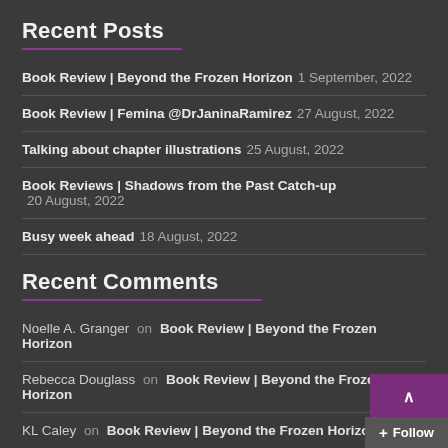Recent Posts
Book Review | Beyond the Frozen Horizon 1 September, 2022
Book Review | Femina @DrJaninaRamirez 27 August, 2022
Talking about chapter illustrations 25 August, 2022
Book Reviews | Shadows from the Past Catch-up 20 August, 2022
Busy week ahead 18 August, 2022
Recent Comments
Noelle A. Granger on Book Review | Beyond the Frozen Horizon
Rebecca Douglass on Book Review | Beyond the Frozen Horizon
KL Caley on Book Review | Beyond the Frozen Horizon
Rebecca Douglass on Book Review | Femina @DrJaninaRamirez
Damyanti Biswas on Book Review | Femina @DrJaninaR